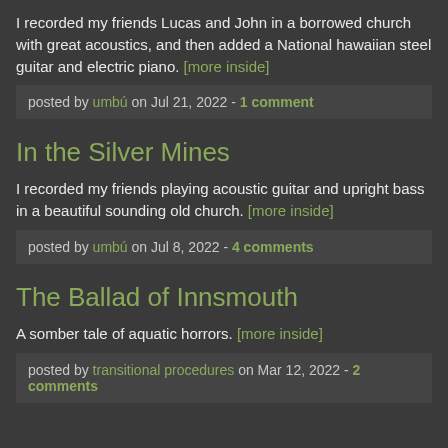I recorded my friends Lucas and John in a borrowed church with great acoustics, and then added a National hawaiian steel guitar and electric piano. [more inside]
posted by umbú on Jul 21, 2022 - 1 comment
In the Silver Mines
I recorded my friends playing acoustic guitar and upright bass in a beautiful sounding old church. [more inside]
posted by umbú on Jul 8, 2022 - 4 comments
The Ballad of Innsmouth
A somber tale of aquatic horrors. [more inside]
posted by transitional procedures on Mar 12, 2022 - 2 comments